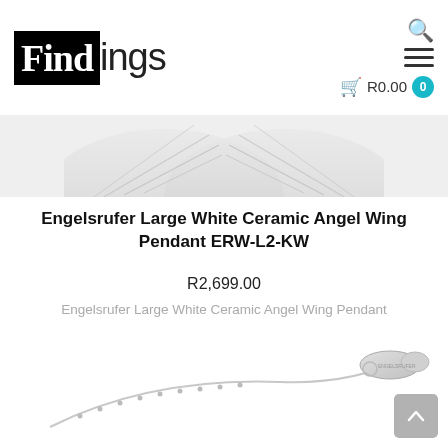[Figure (logo): Findings store logo — 'Find' in white on black box, 'ings' in dark sans-serif]
[Figure (screenshot): Search icon and hamburger menu with cart showing R0.00 and teal badge with 0]
[Figure (photo): Close-up of white ceramic angel wing pendant, top portion visible]
Engelsrufer Large White Ceramic Angel Wing Pendant ERW-L2-KW
R2,699.00
Engelsrufer Large White Ceramic Angel Wing Pendant
[Figure (photo): Silver chain with lobster clasp, lower portion of the pendant product photo]